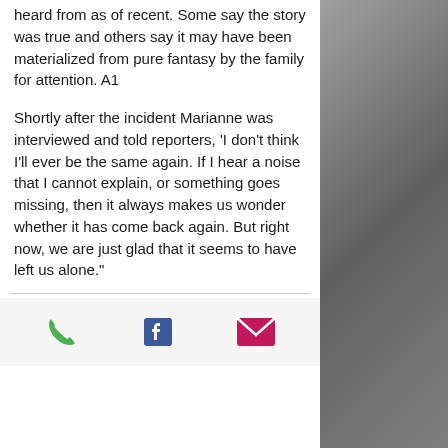heard from as of recent. Some say the story was true and others say it may have been materialized from pure fantasy by the family for attention. A1
Shortly after the incident Marianne was interviewed and told reporters, 'I don't think I'll ever be the same again. If I hear a noise that I cannot explain, or something goes missing, then it always makes us wonder whether it has come back again. But right now, we are just glad that it seems to have left us alone."
[Figure (infographic): App footer bar with three icons: green phone icon, blue Facebook 'f' icon, and pink/magenta email envelope icon]